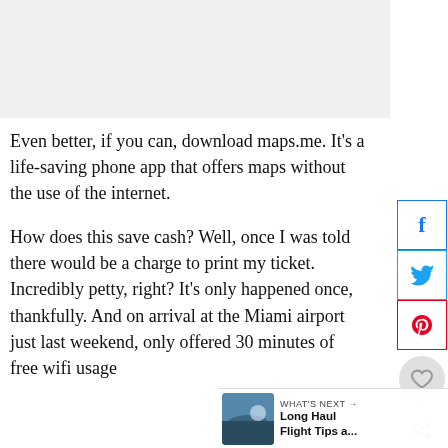[Figure (other): Advertisement or placeholder image area at the top of the page]
Even better, if you can, download maps.me. It’s a life-saving phone app that offers maps without the use of the internet.
How does this save cash? Well, once I was told there would be a charge to print my ticket. Incredibly petty, right? It’s only happened once, thankfully. And on arrival at the Miami airport just last weekend, only offered 30 minutes of free wifi usage